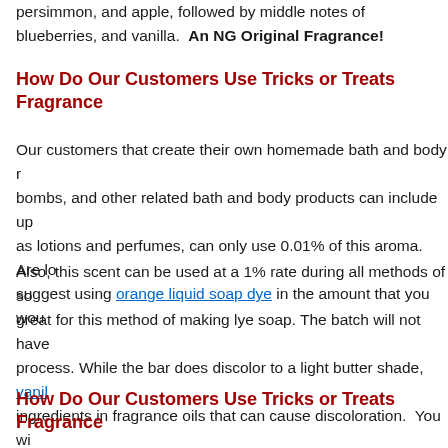persimmon, and apple, followed by middle notes of blueberries, and vanilla. An NG Original Fragrance!
How Do Our Customers Use Tricks or Treats Fragrance
Our customers that create their own homemade bath and body recipes, bombs, and other related bath and body products can include up to as lotions and perfumes, can only use 0.01% of this aroma. Are lo suggest using orange liquid soap dye in the amount that you wou
Also, this scent can be used at a 1% rate during all methods of so great for this method of making lye soap. The batch will not have process. While the bar does discolor to a light butter shade, vanill ingredients in fragrance oils that can cause discoloration. You wi
How Do Our Customers Use Tricks or Treats Fragrance
Diy room fragrance recipes can be made with this perfect Hallowe with up to 50% of this scent. Green household cleaning products made with this aroma. Smelly Jelly Jars also incorporate this fall sc